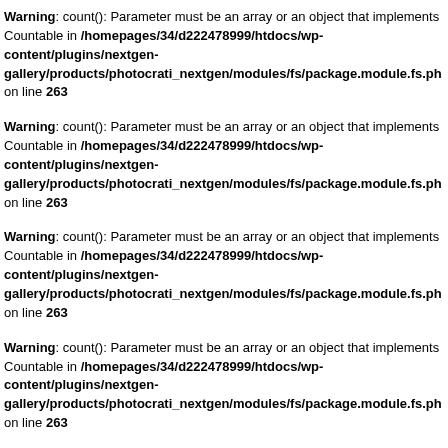Warning: count(): Parameter must be an array or an object that implements Countable in /homepages/34/d222478999/htdocs/wp-content/plugins/nextgen-gallery/products/photocrati_nextgen/modules/fs/package.module.fs.ph on line 263
Warning: count(): Parameter must be an array or an object that implements Countable in /homepages/34/d222478999/htdocs/wp-content/plugins/nextgen-gallery/products/photocrati_nextgen/modules/fs/package.module.fs.ph on line 263
Warning: count(): Parameter must be an array or an object that implements Countable in /homepages/34/d222478999/htdocs/wp-content/plugins/nextgen-gallery/products/photocrati_nextgen/modules/fs/package.module.fs.ph on line 263
Warning: count(): Parameter must be an array or an object that implements Countable in /homepages/34/d222478999/htdocs/wp-content/plugins/nextgen-gallery/products/photocrati_nextgen/modules/fs/package.module.fs.ph on line 263
Warning: count(): Parameter must be an array or an object that implements Countable in /homepages/34/d222478999/htdocs/wp-content/plugins/nextgen-gallery/products/photocrati_nextgen/modules/fs/package.module.fs.ph on line 263